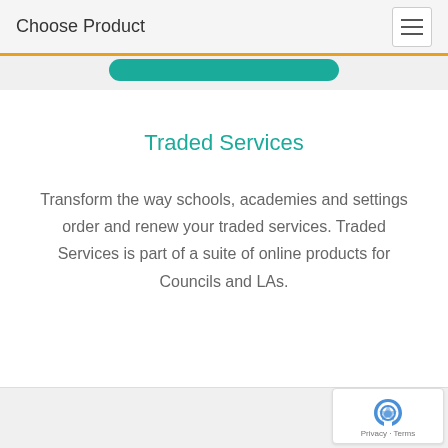Choose Product
Traded Services
Transform the way schools, academies and settings order and renew your traded services. Traded Services is part of a suite of online products for Councils and LAs.
[Figure (logo): reCAPTCHA badge with Privacy and Terms links]